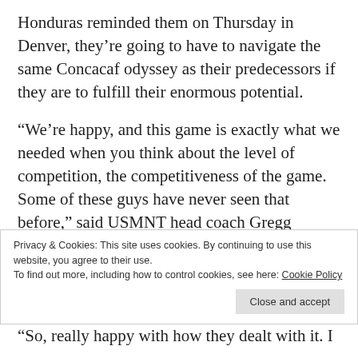Honduras reminded them on Thursday in Denver, they’re going to have to navigate the same Concacaf odyssey as their predecessors if they are to fulfill their enormous potential.
“We’re happy, and this game is exactly what we needed when you think about the level of competition, the competitiveness of the game. Some of these guys have never seen that before,” said USMNT head coach Gregg Berhalter after his team, the second-youngest every put out by the USMNT in a competitive
Privacy & Cookies: This site uses cookies. By continuing to use this website, you agree to their use.
To find out more, including how to control cookies, see here: Cookie Policy
“So, really happy with how they dealt with it. I